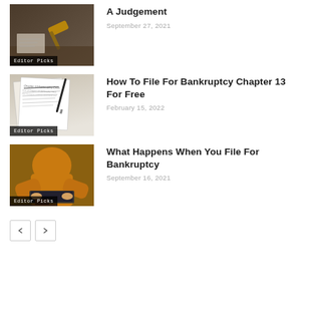[Figure (photo): Person using a gavel at a desk, legal/court setting]
Editor Picks
A Judgement
September 27, 2021
[Figure (photo): Close-up of Chapter 13 Bankruptcy documents/forms]
Editor Picks
How To File For Bankruptcy Chapter 13 For Free
February 15, 2022
[Figure (photo): Person in yellow sweater using a laptop, casual setting]
Editor Picks
What Happens When You File For Bankruptcy
September 16, 2021